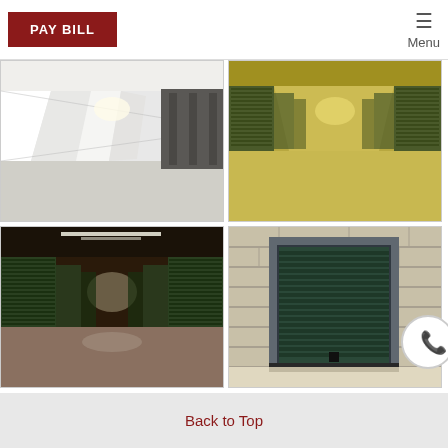[Figure (photo): PAY BILL red button in page header navigation]
[Figure (photo): Menu hamburger icon in top right of header]
[Figure (photo): Indoor storage facility hallway with white painted walls and metal units on left side]
[Figure (photo): Indoor storage facility hallway with green/yellow tones and metal roll-up doors on both sides]
[Figure (photo): Indoor storage facility hallway with green metal roll-up doors and overhead lighting]
[Figure (photo): Exterior storage unit with dark green/blue roll-up door set in stone/brick wall]
Back to Top